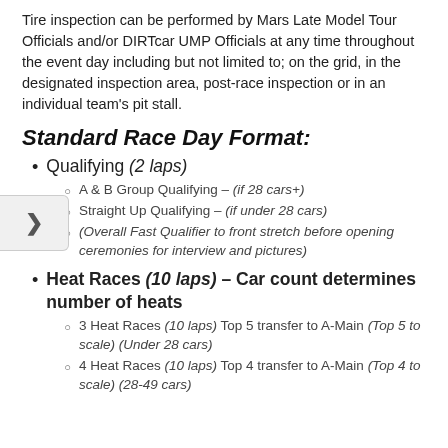Tire inspection can be performed by Mars Late Model Tour Officials and/or DIRTcar UMP Officials at any time throughout the event day including but not limited to; on the grid, in the designated inspection area, post-race inspection or in an individual team's pit stall.
Standard Race Day Format:
Qualifying (2 laps)
A & B Group Qualifying – (if 28 cars+)
Straight Up Qualifying – (if under 28 cars)
(Overall Fast Qualifier to front stretch before opening ceremonies for interview and pictures)
Heat Races (10 laps) – Car count determines number of heats
3 Heat Races (10 laps) Top 5 transfer to A-Main (Top 5 to scale) (Under 28 cars)
4 Heat Races (10 laps) Top 4 transfer to A-Main (Top 4 to scale) (28-49 cars)